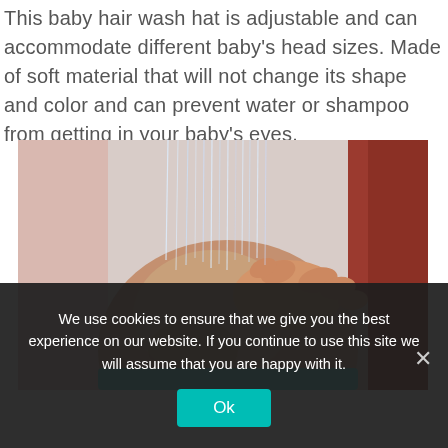This baby hair wash hat is adjustable and can accommodate different baby's head sizes. Made of soft material that will not change its shape and color and can prevent water or shampoo from getting in your baby's eyes.
[Figure (photo): Close-up photo of a baby's wet head being washed with water streaming down, an adult hand touching the head, and a teal/blue hair wash hat visible at the bottom. Red clothing visible in background.]
We use cookies to ensure that we give you the best experience on our website. If you continue to use this site we will assume that you are happy with it.